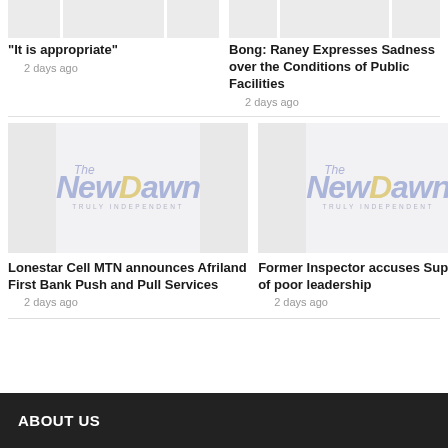[Figure (screenshot): Two placeholder thumbnail images in a row for article 1]
“It is appropriate”
2 days ago
[Figure (screenshot): Two placeholder thumbnail images in a row for article 2]
Bong: Raney Expresses Sadness over the Conditions of Public Facilities
2 days ago
[Figure (logo): The New Dawn Truly Independent newspaper logo on gray background]
Lonestar Cell MTN announces Afriland First Bank Push and Pull Services
2 days ago
[Figure (logo): The New Dawn Truly Independent newspaper logo on gray background]
Former Inspector accuses Sup. Walker of poor leadership
2 days ago
ABOUT US